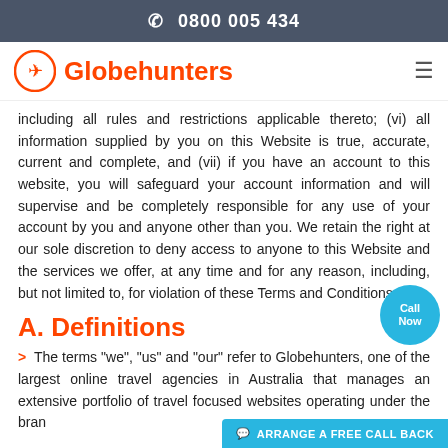0800 005 434
[Figure (logo): Globehunters logo with orange circle containing airplane icon and orange text 'Globehunters', plus hamburger menu icon on the right]
including all rules and restrictions applicable thereto; (vi) all information supplied by you on this Website is true, accurate, current and complete, and (vii) if you have an account to this website, you will safeguard your account information and will supervise and be completely responsible for any use of your account by you and anyone other than you. We retain the right at our sole discretion to deny access to anyone to this Website and the services we offer, at any time and for any reason, including, but not limited to, for violation of these Terms and Conditions.
A. Definitions
The terms "we", "us" and "our" refer to Globehunters, one of the largest online travel agencies in Australia that manages an extensive portfolio of travel focused websites operating under the bran